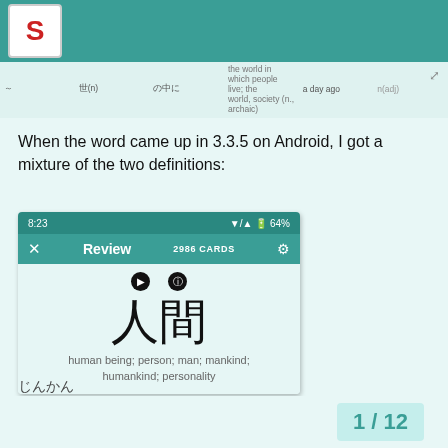S (logo)
|  | 世(n) | の中に | the world in which people live; the | a day ago | n(adj) |
| --- | --- | --- | --- | --- | --- |
|  |  |  | world, society (n., archaic) |  |  |
When the word came up in 3.3.5 on Android, I got a mixture of the two definitions:
[Figure (screenshot): Android app screenshot showing a flashcard review screen. Status bar shows 8:23 time and 64% battery. Toolbar shows 'Review 2986 CARDS' with settings icon. Card shows Japanese kanji 人間 with definition 'human being; person; man; mankind; humankind; personality']
じんかん
1 / 12